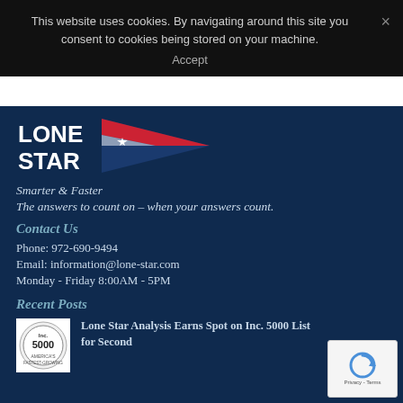This website uses cookies. By navigating around this site you consent to cookies being stored on your machine. Accept ×
[Figure (logo): Lone Star Analysis logo with blue pennant/flag shape containing a white star and red/white stripe, with 'LONE STAR' text in white]
Smarter & Faster
The answers to count on – when your answers count.
Contact Us
Phone: 972-690-9494
Email: information@lone-star.com
Monday - Friday 8:00AM - 5PM
Recent Posts
[Figure (photo): Inc. 5000 circular badge/logo in black and white]
Lone Star Analysis Earns Spot on Inc. 5000 List for Second